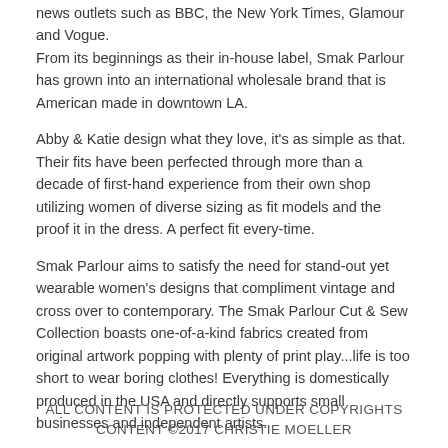news outlets such as BBC, the New York Times, Glamour and Vogue.  From its beginnings as their in-house label, Smak Parlour has grown into an international wholesale brand that is American made in downtown LA.
Abby & Katie design what they love, it's as simple as that.  Their fits have been perfected through more than a decade of first-hand experience from their own shop utilizing women of diverse sizing as fit models and the proof it in the dress.  A perfect fit every-time.
Smak Parlour aims to satisfy the need for stand-out yet wearable women's designs that compliment vintage and cross over to contemporary. The Smak Parlour Cut & Sew Collection boasts one-of-a-kind fabrics created from original artwork popping with plenty of print play...life is too short to wear boring clothes! Everything is domestically produced in the USA and directly supports small businesses and independent artists.
What I Love about this Dress: Ummmm of course the fit!  One of my favorite things to do is layer dresses with shirts and this dress has that look
ALL CONTENT IS PROTECTED UNDER COPYRIGHTS CONTENT ©2017 CHRISTIE MOELLER